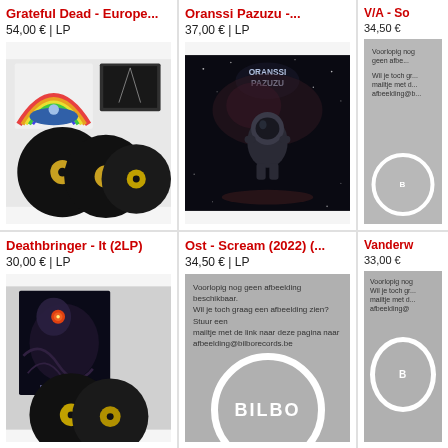Grateful Dead - Europe...
54,00 € | LP
[Figure (photo): Grateful Dead Europe vinyl LP box set with colorful rainbow cover art and multiple black vinyl records]
Oranssi Pazuzu -...
37,00 € | LP
[Figure (photo): Oranssi Pazuzu dark space album cover showing astronaut figure in dark cosmic environment with glowing logo]
V/A - So
34,50 €
[Figure (other): Bilbo Records placeholder image - no image available yet]
Deathbringer - It (2LP)
30,00 € | LP
[Figure (photo): Deathbringer It album cover with dark fantasy art and vinyl records]
Ost - Scream (2022) (...
34,50 € | LP
[Figure (other): Bilbo Records placeholder: Voorlopig nog geen afbeelding beschikbaar. Wil je toch graag een afbeelding zien? Stuur een mailtje met de link naar deze pagina naar afbeelding@bilborecords.be]
Vanderw
33,00 €
[Figure (other): Bilbo Records placeholder image - partial view]
Rose City Band - Earth
Saucy Joe - Goodbye
Bloodt